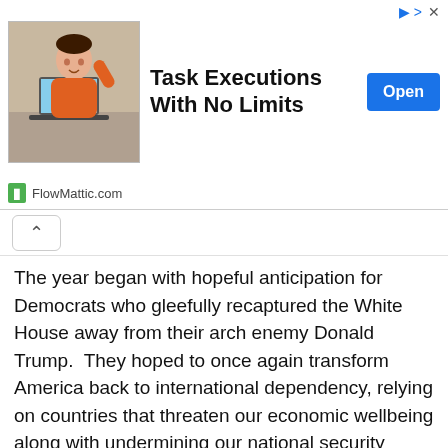[Figure (screenshot): Advertisement banner for FlowMattic.com showing a woman at a laptop in an orange shirt, with text 'Task Executions With No Limits' and an 'Open' button]
The year began with hopeful anticipation for Democrats who gleefully recaptured the White House away from their arch enemy Donald Trump.  They hoped to once again transform America back to international dependency, relying on countries that threaten our economic wellbeing along with undermining our national security interests.
Back in the House Pelosi began 2021 with